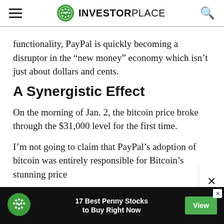INVESTORPLACE
functionality, PayPal is quickly becoming a disruptor in the “new money” economy which isn’t just about dollars and cents.
A Synergistic Effect
On the morning of Jan. 2, the bitcoin price broke through the $31,000 level for the first time.
I’m not going to claim that PayPal’s adoption of bitcoin was entirely responsible for Bitcoin’s stunning price
[Figure (infographic): Advertisement banner: dark background with green InvestorPlace logo icon, text '17 Best Penny Stocks to Buy Right Now', and a green 'View' button.]